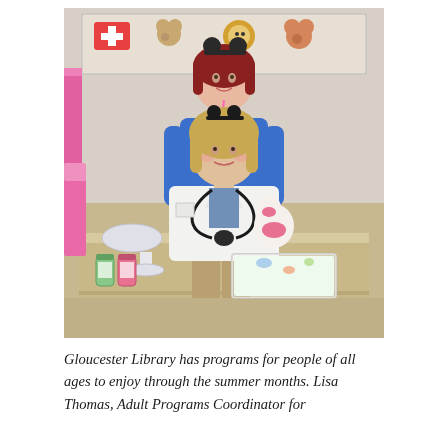[Figure (photo): Two women posing in what appears to be a library or medical setting. One woman standing in the back wears a blue patterned scrub top with mouse ear headband and a name badge. The other woman seated in front wears a white doctor's coat with a stethoscope and holds a stuffed animal toy. On the table in front are a scale, small bottles/jars, and items on a tray with colorful fabric. A banner with stuffed animal illustrations is visible on the wall behind them.]
Gloucester Library has programs for people of all ages to enjoy through the summer months. Lisa Thomas, Adult Programs Coordinator for